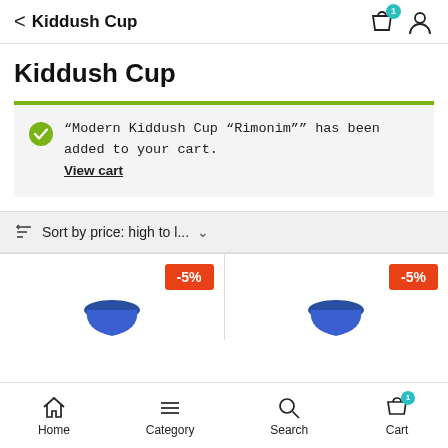< Kiddush Cup
Kiddush Cup
“Modern Kiddush Cup “Rimonim”” has been added to your cart. View cart
Sort by price: high to l... ∨
[Figure (screenshot): Two product cards each showing a -5% discount badge in orange-red and a partially visible blue Kiddush Cup product image]
Home  Category  Search  Cart